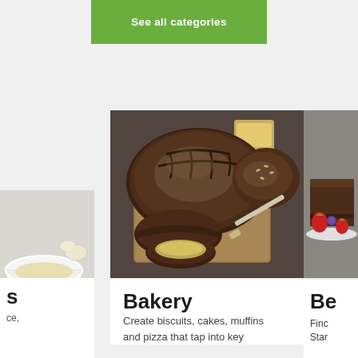See all categories
[Figure (photo): Partial view of a white bowl with sauce and a green herb leaf, left card]
s
ce,
[Figure (photo): Dark sourdough bread loaves sliced on a wooden cutting board with butter, center card (Bakery)]
Bakery
Create biscuits, cakes, muffins and pizza that tap into key
[Figure (photo): Partial view of chocolate brownie with strawberries, right card]
Be
Finc Star